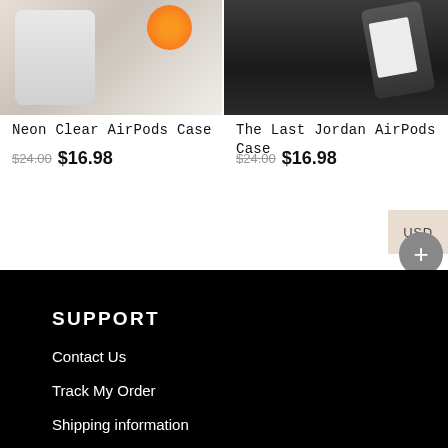[Figure (photo): Product photo of Neon Clear AirPods Case with a smartphone on a fluffy white surface with an orange element]
Neon Clear AirPods Case
$24.00 $16.98
[Figure (photo): Product photo of The Last Jordan AirPods Case with a hand holding a black case near a printed page]
The Last Jordan AirPods Case
$24.00 $16.98
SUPPORT
Contact Us
Track My Order
Shipping information